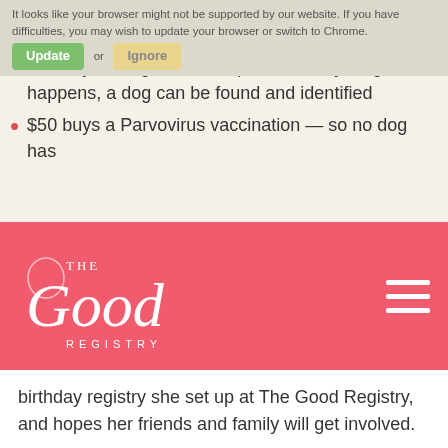It looks like your browser might not be supported by our website. If you have difficulties, you may wish to update your browser or switch to Chrome.
$25 buys a dog a microchip — so if anything happens, a dog can be found and identified
$50 buys a Parvovirus vaccination — so no dog has
[Figure (logo): The Good Registry logo in white on coral/red navigation bar, with hamburger menu icon]
birthday registry she set up at The Good Registry, and hopes her friends and family will get involved.
“I loved setting up a birthday registry, as it is an opportunity to raise money for something dear to my heart, and also raises awareness at the same time."